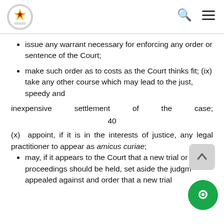Parliament of Zimbabwe logo with search and menu icons
issue any warrant necessary for enforcing any order or sentence of the Court;
make such order as to costs as the Court thinks fit; (ix) take any other course which may lead to the just, speedy and
inexpensive    settlement    of    the    case;
40
(x)  appoint, if it is in the interests of justice, any legal practitioner to appear as amicus curiae;
may, if it appears to the Court that a new trial or proceedings should be held, set aside the judgment appealed against and order that a new trial